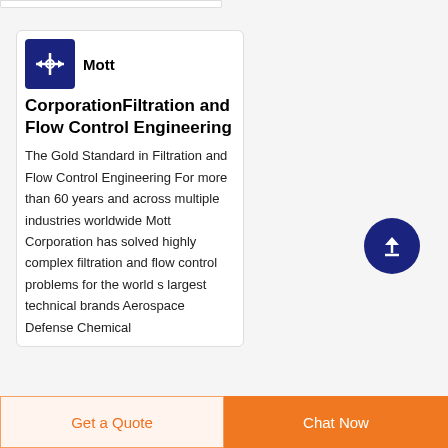[Figure (logo): Mott Corporation logo — white arrow/star icon on dark blue square background]
Mott
CorporationFiltration and Flow Control Engineering
The Gold Standard in Filtration and Flow Control Engineering For more than 60 years and across multiple industries worldwide Mott Corporation has solved highly complex filtration and flow control problems for the world s largest technical brands Aerospace Defense Chemical
[Figure (other): Dark blue circular button with white upward arrow icon — scroll-to-top button]
Get a Quote   Chat Now